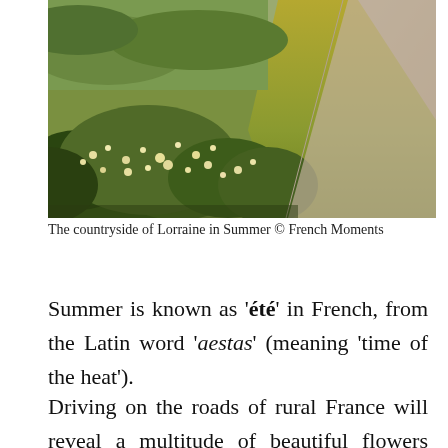[Figure (photo): A countryside photo showing wildflowers and shrubs along the edge of a rural road in Lorraine, France, in summer. Green and golden grass, yellow-white flowers, and a winding path are visible.]
The countryside of Lorraine in Summer © French Moments
Summer is known as 'été' in French, from the Latin word 'aestas' (meaning 'time of the heat').
Driving on the roads of rural France will reveal a multitude of beautiful flowers blooming in fields, meadows and forests all